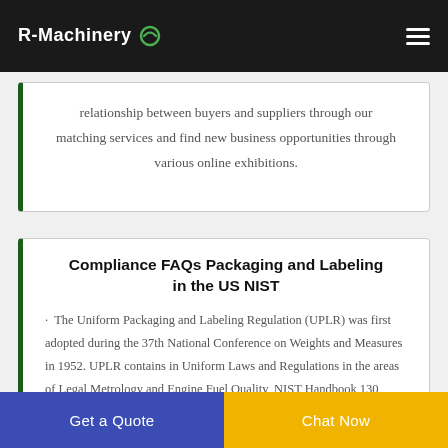R-Machinery
relationship between buyers and suppliers through our matching services and find new business opportunities through various online exhibitions.
Compliance FAQs Packaging and Labeling in the US NIST
· The Uniform Packaging and Labeling Regulation (UPLR) was first adopted during the 37th National Conference on Weights and Measures in 1952. UPLR contains in Uniform Laws and Regulations in the areas of Legal Metrology and Engine Fuel Quality, NIST Handbook 130, have been adopted
Get a Quote
Chat Now